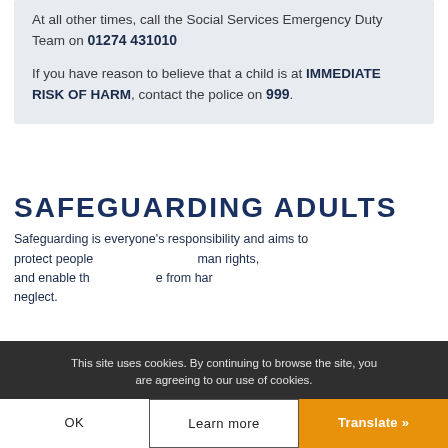At all other times, call the Social Services Emergency Duty Team on 01274 431010
If you have reason to believe that a child is at IMMEDIATE RISK OF HARM, contact the police on 999.
SAFEGUARDING ADULTS
Safeguarding is everyone's responsibility and aims to protect people ... human rights, and enable the ... from harm ... neglect.
This site uses cookies. By continuing to browse the site, you are agreeing to our use of cookies.